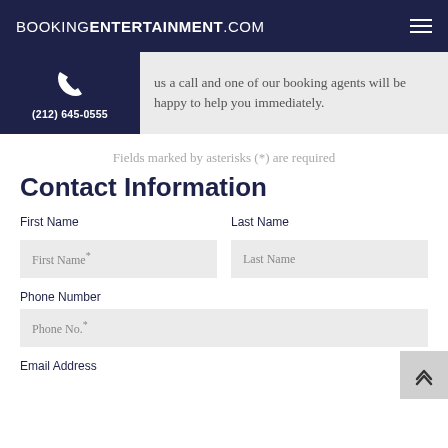BOOKINGENTERTAINMENT.COM
[Figure (infographic): Phone banner with dark navy background on left showing a phone icon and the number (212) 645-0555, and a light grey background on the right with text: 'us a call and one of our booking agents will be happy to help you immediately.']
Fields marked by asterisks (*) are required
Contact Information
First Name
Last Name
First Name*
Last Name
Phone Number
Phone No.*
Email Address